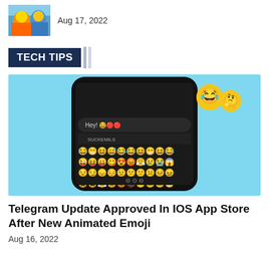[Figure (photo): Thumbnail image of an anime/cartoon character in orange suit]
Aug 17, 2022
TECH TIPS
[Figure (photo): Smartphone screen showing Telegram emoji keyboard with animated emojis on a light blue background]
Telegram Update Approved In IOS App Store After New Animated Emoji
Aug 16, 2022